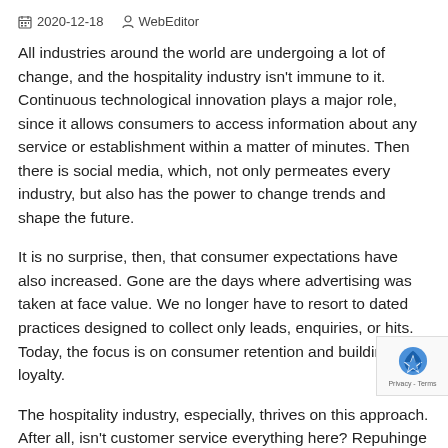2020-12-18   WebEditor
All industries around the world are undergoing a lot of change, and the hospitality industry isn't immune to it. Continuous technological innovation plays a major role, since it allows consumers to access information about any service or establishment within a matter of minutes. Then there is social media, which, not only permeates every industry, but also has the power to change trends and shape the future.
It is no surprise, then, that consumer expectations have also increased. Gone are the days where advertising was taken at face value. We no longer have to resort to dated practices designed to collect only leads, enquiries, or hits. Today, the focus is on consumer retention and building loyalty.
The hospitality industry, especially, thrives on this approach. After all, isn't customer service everything here? Repu... hinge on popular perception, goodwill, and word of mo... The hotel experience can be tarnished irreparably if it gets